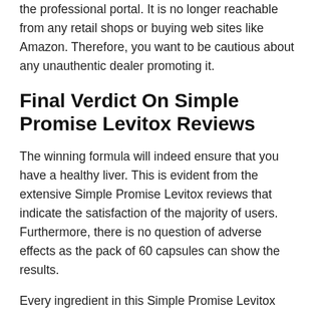the professional portal. It is no longer reachable from any retail shops or buying web sites like Amazon. Therefore, you want to be cautious about any unauthentic dealer promoting it.
Final Verdict On Simple Promise Levitox Reviews
The winning formula will indeed ensure that you have a healthy liver. This is evident from the extensive Simple Promise Levitox reviews that indicate the satisfaction of the majority of users. Furthermore, there is no question of adverse effects as the pack of 60 capsules can show the results.
Every ingredient in this Simple Promise Levitox